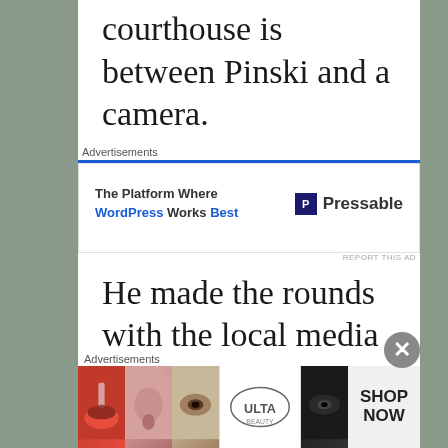courthouse is between Pinski and a camera.
Advertisements
[Figure (other): Pressable advertisement: 'The Platform Where WordPress Works Best' with Pressable logo on the right]
He made the rounds with the local media after the announcement that he was quitting. I would expect nothing less, but after October 2 what's he going to do for publicity?
Advertisements
[Figure (other): ULTA Beauty advertisement with makeup images and SHOP NOW call to action]